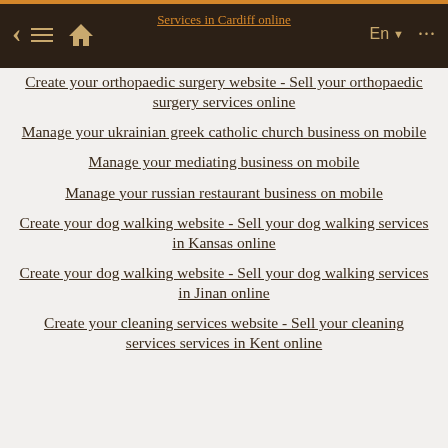Services in Cardiff online
Create your orthopaedic surgery website - Sell your orthopaedic surgery services online
Manage your ukrainian greek catholic church business on mobile
Manage your mediating business on mobile
Manage your russian restaurant business on mobile
Create your dog walking website - Sell your dog walking services in Kansas online
Create your dog walking website - Sell your dog walking services in Jinan online
Create your cleaning services website - Sell your cleaning services services in Kent online